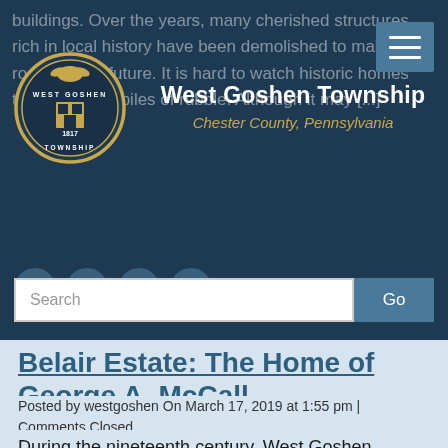buildings. Over the years, many cherished structures rich in local history have been demolished to make room for the future. It is hard to watch historic homes transform into piles of rubble. Although it may [...]
[Figure (logo): West Goshen Township circular seal/logo with eagle at top and "1817" date]
West Goshen Township
Chester County, Pennsylvania
Search
Belair Estate: The Home of George A. McCall
Posted by westgoshen On March 17, 2019 at 1:55 pm | Comments Closed
During the nineteenth century, West Goshen Township was a getaway for Philadelphia residents to relax at their country homes. The expansive pastures and dense forests offered